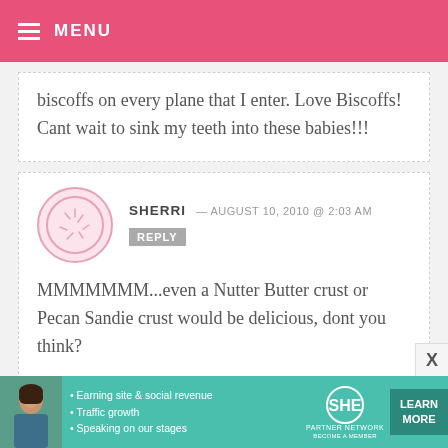MENU
biscoffs on every plane that I enter. Love Biscoffs! Cant wait to sink my teeth into these babies!!!
SHERRI — AUGUST 10, 2010 @ 2:03 AM REPLY
MMMMMMM...even a Nutter Butter crust or Pecan Sandie crust would be delicious, dont you think?
[Figure (infographic): SHE Partner Network advertisement banner with photo of woman, bullet points about earning site & social revenue, traffic growth, speaking on our stages, SHE logo, and LEARN MORE button]